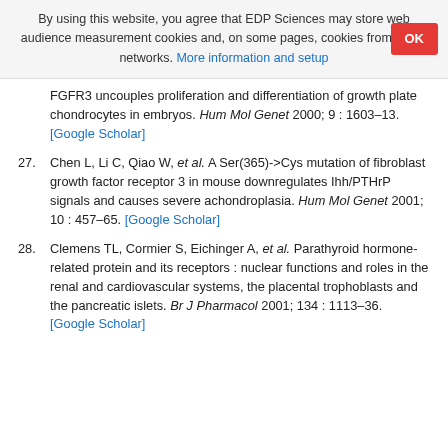By using this website, you agree that EDP Sciences may store web audience measurement cookies and, on some pages, cookies from social networks. More information and setup
FGFR3 uncouples proliferation and differentiation of growth plate chondrocytes in embryos. Hum Mol Genet 2000; 9 : 1603–13. [Google Scholar]
27. Chen L, Li C, Qiao W, et al. A Ser(365)->Cys mutation of fibroblast growth factor receptor 3 in mouse downregulates Ihh/PTHrP signals and causes severe achondroplasia. Hum Mol Genet 2001; 10 : 457–65. [Google Scholar]
28. Clemens TL, Cormier S, Eichinger A, et al. Parathyroid hormone-related protein and its receptors : nuclear functions and roles in the renal and cardiovascular systems, the placental trophoblasts and the pancreatic islets. Br J Pharmacol 2001; 134 : 1113–36. [Google Scholar]